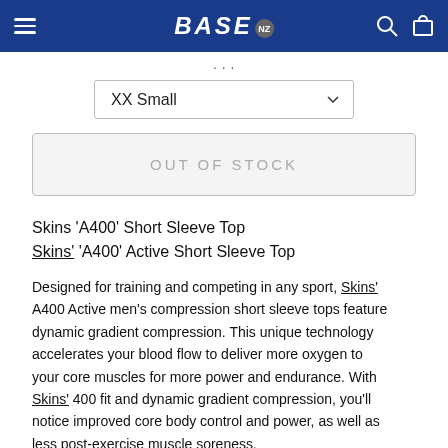BASE NZ
XX Small
OUT OF STOCK
Skins 'A400' Short Sleeve Top
Skins' 'A400' Active Short Sleeve Top
Designed for training and competing in any sport, Skins' A400 Active men's compression short sleeve tops feature dynamic gradient compression. This unique technology accelerates your blood flow to deliver more oxygen to your core muscles for more power and endurance. With Skins' 400 fit and dynamic gradient compression, you'll notice improved core body control and power, as well as less post-exercise muscle soreness.
A hem gripper keeps the shirt in place as you move. Fast wicking technology conveys moisture away from the skin